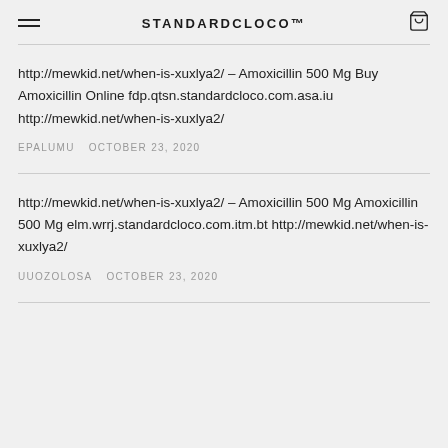STANDARDCLOCO™
http://mewkid.net/when-is-xuxlya2/ – Amoxicillin 500 Mg Buy Amoxicillin Online fdp.qtsn.standardcloco.com.asa.iu http://mewkid.net/when-is-xuxlya2/
EPALUMU   OCTOBER 23, 2020
http://mewkid.net/when-is-xuxlya2/ – Amoxicillin 500 Mg Amoxicillin 500 Mg elm.wrrj.standardcloco.com.itm.bt http://mewkid.net/when-is-xuxlya2/
UUOZOLOSA   OCTOBER 23, 2020